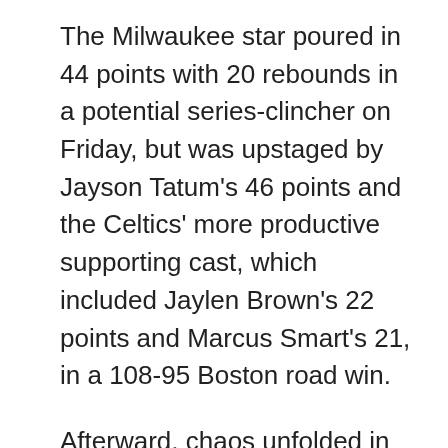The Milwaukee star poured in 44 points with 20 rebounds in a potential series-clincher on Friday, but was upstaged by Jayson Tatum's 46 points and the Celtics' more productive supporting cast, which included Jaylen Brown's 22 points and Marcus Smart's 21, in a 108-95 Boston road win.
Afterward, chaos unfolded in the streets near the arena in the downtown bar district. As of Saturday afternoon, 21 people were reported injured in three shootings near the Bucks' outdoor viewing party that drew more than 11,000